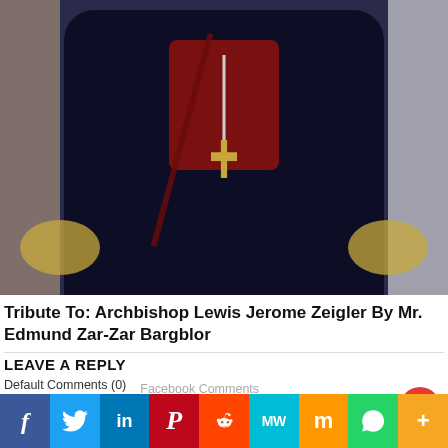[Figure (photo): Photo of Archbishop Lewis Jerome Zeigler in dark clerical robes with a cross pendant and gold episcopal regalia on shoulders]
Tribute To: Archbishop Lewis Jerome Zeigler By Mr. Edmund Zar-Zar Bargblor
LEAVE A REPLY
Default Comments (0)   Facebook Comments
Your email address will not be published.